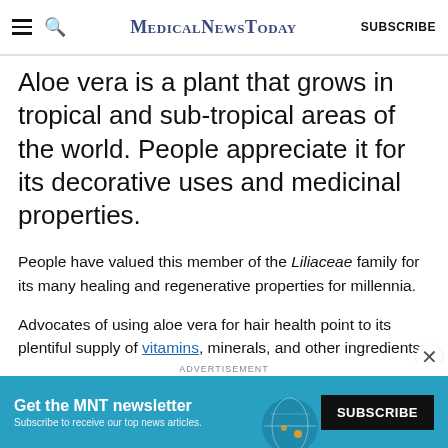MedicalNewsToday — SUBSCRIBE
Aloe vera is a plant that grows in tropical and sub-tropical areas of the world. People appreciate it for its decorative uses and medicinal properties.
People have valued this member of the Liliaceae family for its many healing and regenerative properties for millennia.
Advocates of using aloe vera for hair health point to its plentiful supply of vitamins, minerals, and other ingredients linked to hair growth. They say these properties are signs of its ability to promote healthy
[Figure (screenshot): Advertisement banner: Get the MNT newsletter — Subscribe to receive our top news articles — SUBSCRIBE button with globe graphic]